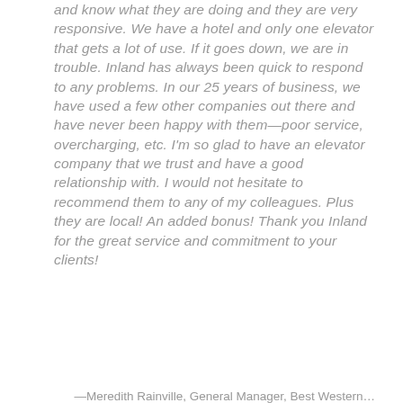and know what they are doing and they are very responsive. We have a hotel and only one elevator that gets a lot of use. If it goes down, we are in trouble. Inland has always been quick to respond to any problems. In our 25 years of business, we have used a few other companies out there and have never been happy with them—poor service, overcharging, etc. I'm so glad to have an elevator company that we trust and have a good relationship with. I would not hesitate to recommend them to any of my colleagues. Plus they are local! An added bonus! Thank you Inland for the great service and commitment to your clients!
—Meredith Rainville, General Manager, Best Western City